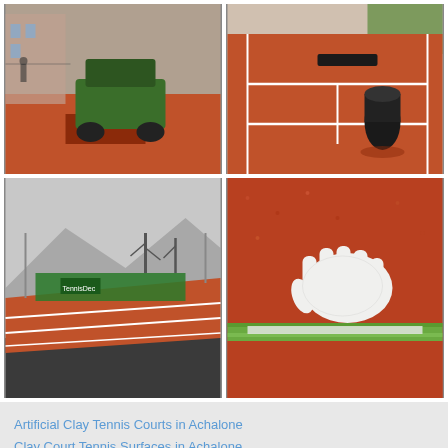[Figure (photo): Green machine/roller on a red clay tennis court with a brick building in background]
[Figure (photo): Red clay tennis court with white lines and a rolled-up mat or surface material]
[Figure (photo): Red clay tennis courts viewed at low angle with mountains and bare trees in background, green windbreak fencing]
[Figure (photo): Gloved hand touching/inspecting red granular artificial clay surface with green backing tape visible]
Artificial Clay Tennis Courts in Achalone
Clay Court Tennis Surfaces in Achalone
Artificial Clay Court Maintenance in Achalone
Synthetic Clay Pitch Repairs in Achalone